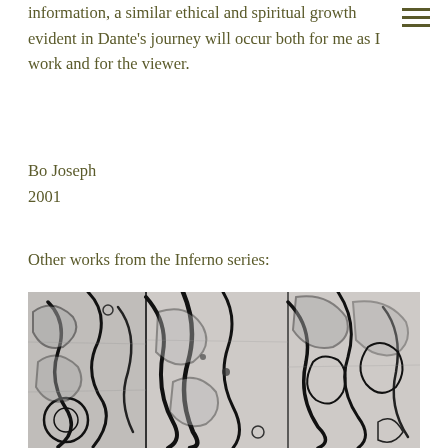information, a similar ethical and spiritual growth evident in Dante's journey will occur both for me as I work and for the viewer.
≡
Bo Joseph
2001
Other works from the Inferno series:
[Figure (illustration): Black and white abstract artwork from the Inferno series, showing dark gestural lines and forms over a light gray background, with organic and geometric shapes intertwined.]